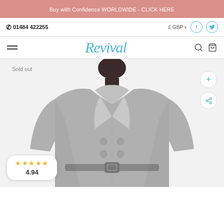Buy with Confidence WORLDWIDE - CLICK HERE
☎ 01484 422255
£ GBP
Revival
Sold out
[Figure (photo): Grey double-breasted belted coat on a dark mannequin, with lapels and silver buttons]
★★★★★ 4.94